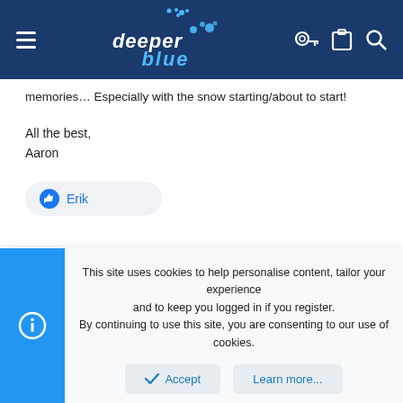deeper blue
memories… Especially with the snow starting/about to start!
All the best,
Aaron
Erik
This site uses cookies to help personalise content, tailor your experience and to keep you logged in if you register.
By continuing to use this site, you are consenting to our use of cookies.
Accept
Learn more...